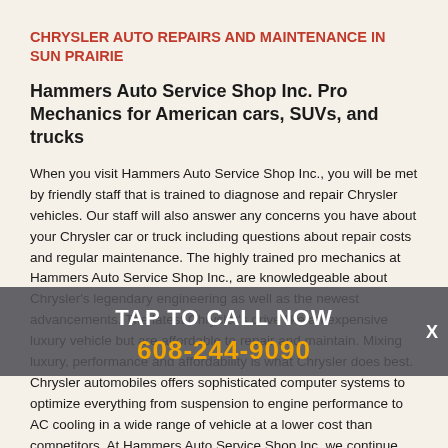CHRYSLER AUTO REPAIRS AND MAINTENANCE IN SUN PRAIRIE
Hammers Auto Service Shop Inc. Pro Mechanics for American cars, SUVs, and trucks
When you visit Hammers Auto Service Shop Inc., you will be met by friendly staff that is trained to diagnose and repair Chrysler vehicles. Our staff will also answer any concerns you have about your Chrysler car or truck including questions about repair costs and regular maintenance. The highly trained pro mechanics at Hammers Auto Service Shop Inc., are knowledgeable about Chrysler's legendary engineering as well as the newest advancements. The latest Chrysler's drive like an expensive luxury vehicle but are affordable to repair and maintain. Mixing luxury, performance and affordability is what Chrysler does best. Chrysler automobiles offers sophisticated computer systems to optimize everything from suspension to engine performance to AC cooling in a wide range of vehicle at a lower cost than competitors. At Hammers Auto Service Shop Inc. we continue Chryslers commitment to affordability with cost effective maintenance and auto repairs that utilize the latest technology. At
[Figure (infographic): Call-to-action overlay banner with dark gray semi-transparent background showing 'TAP TO CALL NOW' in white bold text and phone number '608-244-9090' in orange bold text, with an X close button on the right]